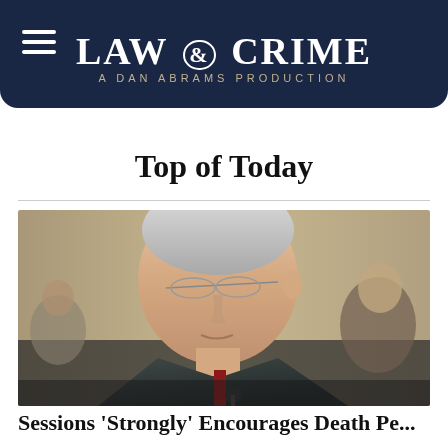LAW & CRIME — A DAN ABRAMS PRODUCTION
Top of Today
[Figure (photo): A man with silver/white hair and glasses, appearing to speak, wearing a dark suit and red tie, photographed at what appears to be a congressional hearing or formal proceeding.]
Sessions 'Strongly' Encourages Death Penalty for Drug-Related Crimes, but U...